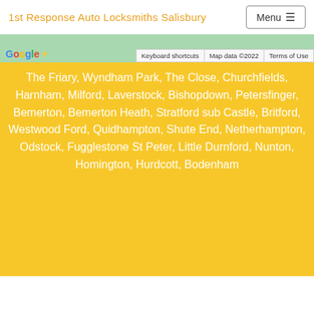1st Response Auto Locksmiths Salisbury
[Figure (map): Google Maps strip showing Salisbury area with Google logo, Keyboard shortcuts, Map data ©2022, and Terms of Use labels]
The Friary, Wyndham Park, The Close, Churchfields, Harnham, Milford, Laverstock, Bishopdown, Petersfinger, Bemerton, Bemerton Heath, Stratford sub Castle, Britford, Westwood Ford, Quidhampton, Shute End, Netherhampton, Odstock, Fugglestone St Peter, Little Durnford, Nunton, Homington, Hurdcott, Bodenham